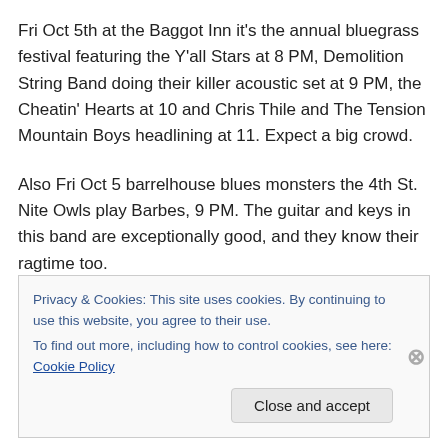Fri Oct 5th at the Baggot Inn it's the annual bluegrass festival featuring the Y'all Stars at 8 PM, Demolition String Band doing their killer acoustic set at 9 PM, the Cheatin' Hearts at 10 and Chris Thile and The Tension Mountain Boys headlining at 11. Expect a big crowd.
Also Fri Oct 5 barrelhouse blues monsters the 4th St. Nite Owls play Barbes, 9 PM. The guitar and keys in this band are exceptionally good, and they know their ragtime too.
Privacy & Cookies: This site uses cookies. By continuing to use this website, you agree to their use.
To find out more, including how to control cookies, see here: Cookie Policy
Close and accept